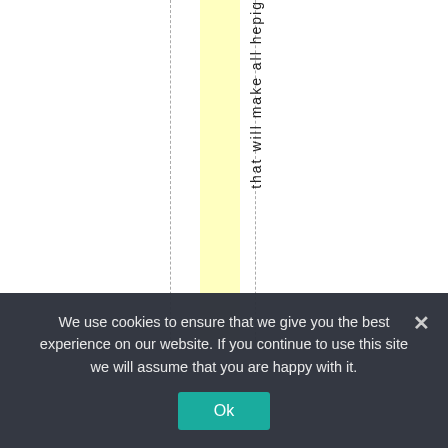[Figure (other): Document page fragment showing vertical rotated text reading 'that will make all hepi...' with dashed vertical guide lines and a yellow highlighted column band]
We use cookies to ensure that we give you the best experience on our website. If you continue to use this site we will assume that you are happy with it.